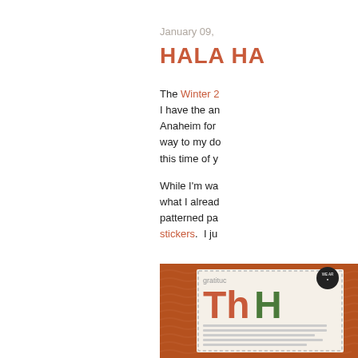January 09,
HALA HA
The Winter 2 I have the an Anaheim for way to my do this time of y
While I'm wa what I alread patterned pa stickers.  I ju
[Figure (photo): A scrapbooking card with brown wavy patterned paper background, a white card with 'gratitude' text and large colorful letters 'Th' and 'H', with text lines below and a dark circular badge/seal at top]